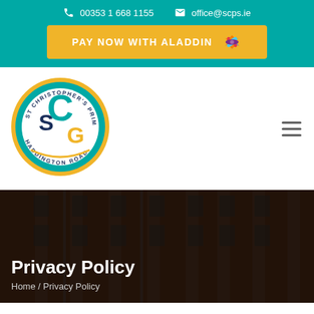00353 1 668 1155   office@scps.ie
[Figure (other): PAY NOW WITH ALADDIN button with Aladdin logo star in yellow/orange]
[Figure (logo): St Christopher's Primary School Haddington Road circular logo with SG initials in navy and teal with gold border]
Privacy Policy
Home / Privacy Policy